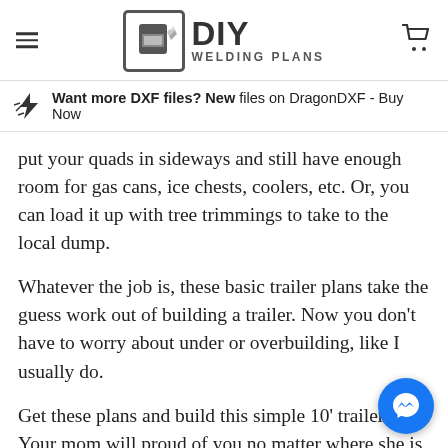DIY WELDING PLANS
Want more DXF files? New files on DragonDXF - Buy Now
put your quads in sideways and still have enough room for gas cans, ice chests, coolers, etc. Or, you can load it up with tree trimmings to take to the local dump.
Whatever the job is, these basic trailer plans take the guess work out of building a trailer. Now you don't have to worry about under or overbuilding, like I usually do.
Get these plans and build this simple 10' trailer. Your mom will proud of you no matter where she is, even if you me. Really though, you know what I'm talking about, and meets be honest, you're not likely to mess this up like you did your